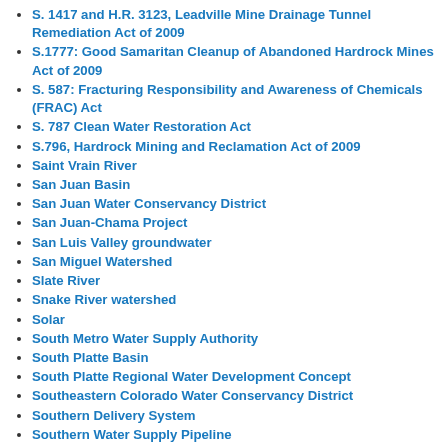S. 1417 and H.R. 3123, Leadville Mine Drainage Tunnel Remediation Act of 2009
S.1777: Good Samaritan Cleanup of Abandoned Hardrock Mines Act of 2009
S. 587: Fracturing Responsibility and Awareness of Chemicals (FRAC) Act
S. 787 Clean Water Restoration Act
S.796, Hardrock Mining and Reclamation Act of 2009
Saint Vrain River
San Juan Basin
San Juan Water Conservancy District
San Juan-Chama Project
San Luis Valley groundwater
San Miguel Watershed
Slate River
Snake River watershed
Solar
South Metro Water Supply Authority
South Platte Basin
South Platte Regional Water Development Concept
Southeastern Colorado Water Conservancy District
Southern Delivery System
Southern Water Supply Pipeline
Southwestern Water Conservation District
Spring Creek